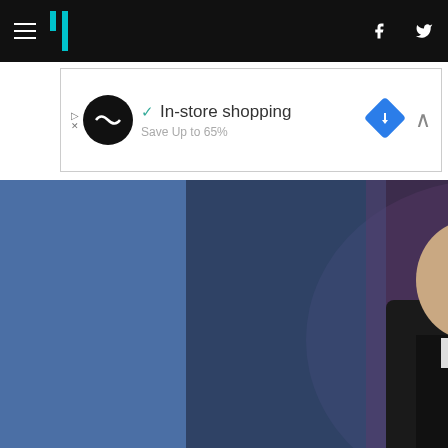HuffPost navigation header with hamburger menu, logo, facebook and twitter icons
[Figure (screenshot): Advertisement banner with circular logo, checkmark, 'In-store shopping' text, diamond navigation icon, and close button]
[Figure (photo): Photo of Trey Parker and Matt Stone on a TV set, both wearing dark jackets, with a blue/purple background. Below the photo: date 'Thursday March 10, 2011', title 'Daily Show: Trey Parker & Matt Stone', description about The Book of Mormon, and tags.]
Thursday March 10, 2011
Daily Show: Trey Parker & Matt Stone
Trey Parker and Matt Stone call "The Book of Mormon" a celebration of Mormonism by guys who aren't Mormons.
Tags: Trey Parker, Matt Stone, South Park, Broadway, Comedy Central, Mormon, religion, growing up, celebrities, audience interaction
There's a respected position on satire that holds if it doesn't offend someone, it's not worth the effort spent perpetrating it. In their lengthening